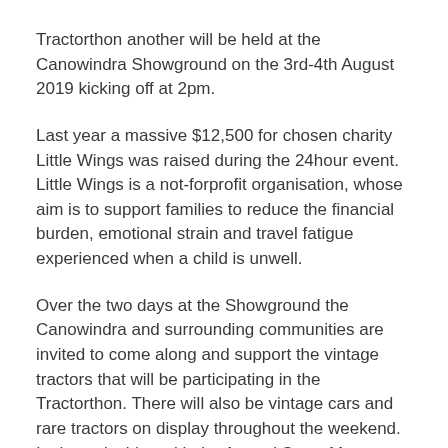Tractorthon another will be held at the Canowindra Showground on the 3rd-4th August 2019 kicking off at 2pm.
Last year a massive $12,500 for chosen charity Little Wings was raised during the 24hour event. Little Wings is a not-forprofit organisation, whose aim is to support families to reduce the financial burden, emotional strain and travel fatigue experienced when a child is unwell.
Over the two days at the Showground the Canowindra and surrounding communities are invited to come along and support the vintage tractors that will be participating in the Tractorthon. There will also be vintage cars and rare tractors on display throughout the weekend. It also coincides with the Annual Swap Meet.